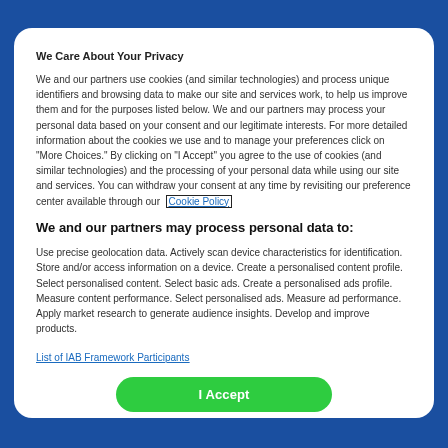We Care About Your Privacy
We and our partners use cookies (and similar technologies) and process unique identifiers and browsing data to make our site and services work, to help us improve them and for the purposes listed below. We and our partners may process your personal data based on your consent and our legitimate interests. For more detailed information about the cookies we use and to manage your preferences click on "More Choices." By clicking on "I Accept" you agree to the use of cookies (and similar technologies) and the processing of your personal data while using our site and services. You can withdraw your consent at any time by revisiting our preference center available through our Cookie Policy
We and our partners may process personal data to:
Use precise geolocation data. Actively scan device characteristics for identification. Store and/or access information on a device. Create a personalised content profile. Select personalised content. Select basic ads. Create a personalised ads profile. Measure content performance. Select personalised ads. Measure ad performance. Apply market research to generate audience insights. Develop and improve products.
List of IAB Framework Participants